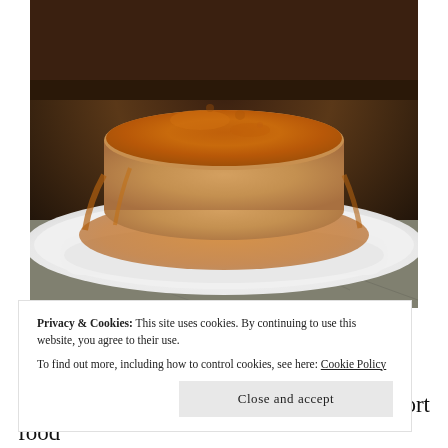[Figure (photo): Close-up photo of a flan (caramel custard dessert) on a white plate, with caramel sauce pooled around it, set on a marble surface.]
Privacy & Cookies: This site uses cookies. By continuing to use this website, you agree to their use.
To find out more, including how to control cookies, see here: Cookie Policy
Close and accept
Flan like the one above, or a starchy comfort food